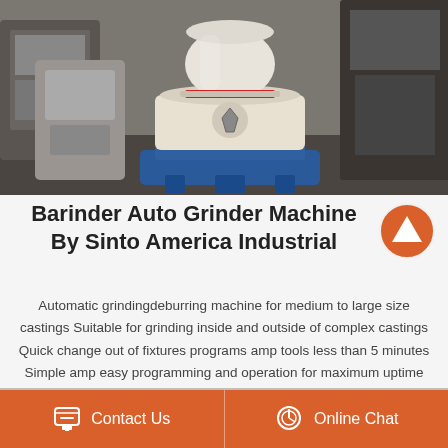[Figure (photo): Industrial grinding/milling machine (large cream-colored vertical grinder) on blue base in a factory floor setting, with other machinery visible in background]
Barinder Auto Grinder Machine By Sinto America Industrial
Automatic grindingdeburring machine for medium to large size castings Suitable for grinding inside and outside of complex castings Quick change out of fixtures programs amp tools less than 5 minutes Simple amp easy programming and operation for maximum uptime 2Position servo pallet...
Contact Us
Online Chat